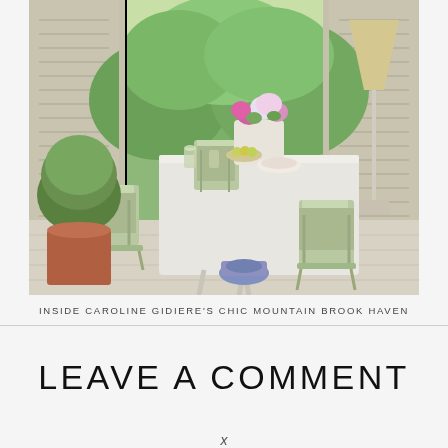[Figure (photo): Indoor/outdoor dining scene with sage green metal chairs around a white table set with flowers, fruit, and tableware. Lush green potted topiary on the left, tall lamp on the right, louvered doors opening to greenery in the background.]
INSIDE CAROLINE GIDIERE'S CHIC MOUNTAIN BROOK HAVEN
LEAVE A COMMENT